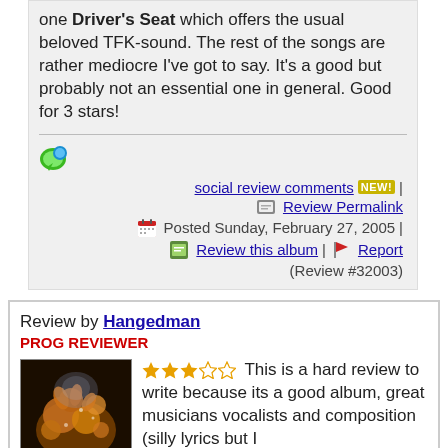one Driver's Seat which offers the usual beloved TFK-sound. The rest of the songs are rather mediocre I've got to say. It's a good but probably not an essential one in general. Good for 3 stars!
social review comments NEW! | Review Permalink | Posted Sunday, February 27, 2005 | Review this album | Report (Review #32003)
Review by Hangedman
PROG REVIEWER
This is a hard review to write because its a good album, great musicians vocalists and composition (silly lyrics but I